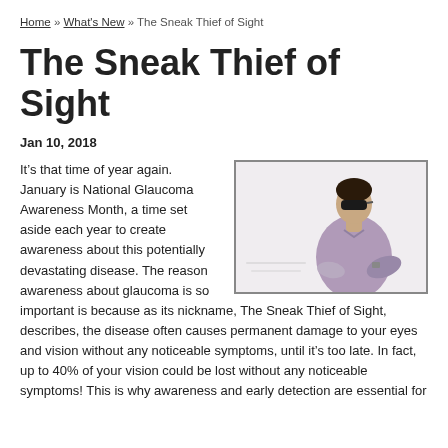Home » What's New » The Sneak Thief of Sight
The Sneak Thief of Sight
Jan 10, 2018
[Figure (photo): A man wearing sunglasses and a purple shirt, photographed from the side against a light background.]
It's that time of year again. January is National Glaucoma Awareness Month, a time set aside each year to create awareness about this potentially devastating disease. The reason awareness about glaucoma is so important is because as its nickname, The Sneak Thief of Sight, describes, the disease often causes permanent damage to your eyes and vision without any noticeable symptoms, until it's too late. In fact, up to 40% of your vision could be lost without any noticeable symptoms! This is why awareness and early detection are essential for